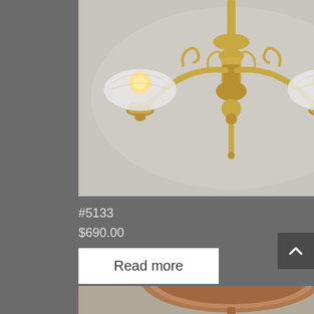[Figure (photo): A brass antique chandelier with three arms, frosted glass globe shades, and ornate scrollwork, photographed from below against a gray background.]
#5133
$690.00
Read more
[Figure (photo): A copper/bronze ceiling flush-mount light fixture viewed from below, partially visible at the bottom of the page.]